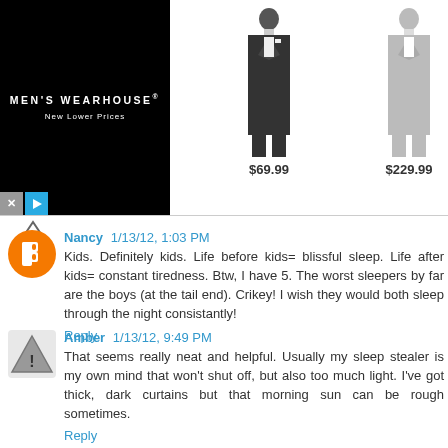[Figure (screenshot): Men's Wearhouse advertisement banner showing two suits priced at $69.99 and $229.99]
Nancy 1/13/12, 1:03 PM
Kids. Definitely kids. Life before kids= blissful sleep. Life after kids= constant tiredness. Btw, I have 5. The worst sleepers by far are the boys (at the tail end). Crikey! I wish they would both sleep through the night consistantly!
Reply
Amber 1/13/12, 9:49 PM
That seems really neat and helpful. Usually my sleep stealer is my own mind that won't shut off, but also too much light. I've got thick, dark curtains but that morning sun can be rough sometimes.
Reply